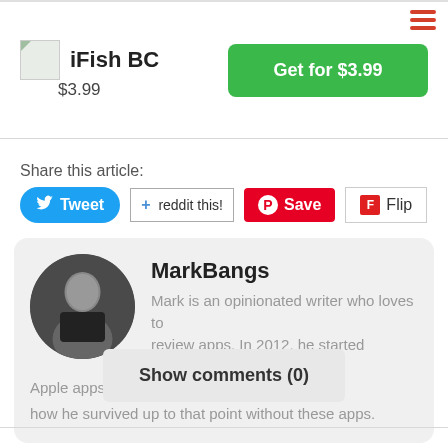[Figure (logo): iFish BC app icon]
iFish BC
$3.99
Get for $3.99
Share this article:
[Figure (other): Tweet button, reddit this! button, Pinterest Save button, Flip button]
MarkBangs
Mark is an opinionated writer who loves to review apps. In 2012, he started reviewing Apple apps on a regular basis and wonders how he survived up to that point without these apps.
Show comments  (0)